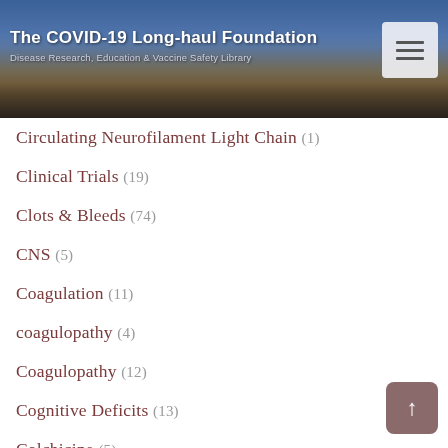[Figure (screenshot): Website header banner for The COVID-19 Long-haul Foundation with city skyline background image, site title, subtitle 'Disease Research, Education & Vaccine Safety Library', and hamburger menu button]
Circulating Neurofilament Light Chain (1)
Clinical Trials (19)
Clots & Bleeds (74)
CNS (5)
Coagulation (11)
coagulopathy (4)
Coagulopathy (12)
Cognitive Deficits (13)
Colchicine (5)
Colitis (3)